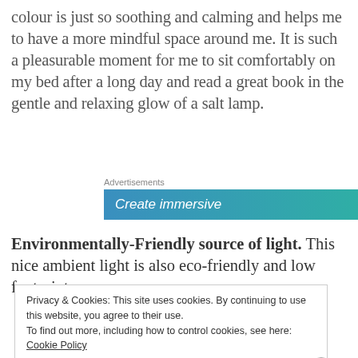colour is just so soothing and calming and helps me to have a more mindful space around me. It is such a pleasurable moment for me to sit comfortably on my bed after a long day and read a great book in the gentle and relaxing glow of a salt lamp.
[Figure (screenshot): Advertisements banner with gradient blue-teal background reading 'Create immersive' in italic white text with a circular icon on the right]
Environmentally-Friendly source of light. This nice ambient light is also eco-friendly and low footprint.
Privacy & Cookies: This site uses cookies. By continuing to use this website, you agree to their use.
To find out more, including how to control cookies, see here: Cookie Policy
Close and accept